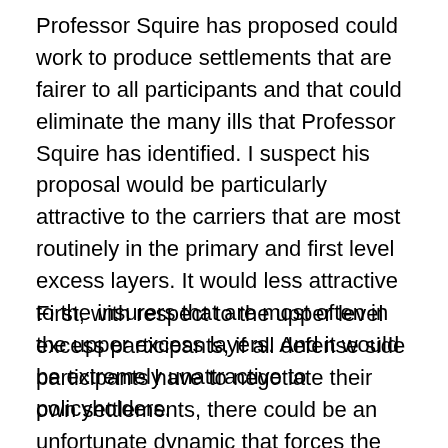Professor Squire has proposed could work to produce settlements that are fairer to all participants and that could eliminate the many ills that Professor Squire has identified. I suspect his proposal would be particularly attractive to the carriers that are most routinely in the primary and first level excess layers. It would less attractive to the insurers that are most often in the upper excess layers. And it would be extremely unattractive to policyholders.
First, with respect to the upper level excess participants, if all defense side participants have to negotiate their own settlements, there could be an unfortunate dynamic that forces the excess to the settlement table and forces them to pony up money that they otherwise shouldn't have to pay and wouldn't pay now. This effect, the direct result of reducing the